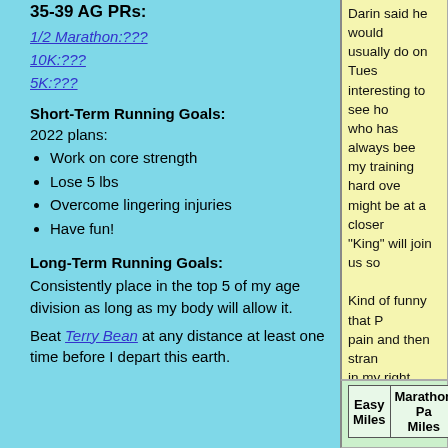35-39 AG PRs:
1/2 Marathon:???
10K:???
5K:???
Short-Term Running Goals:
2022 plans:
Work on core strength
Lose 5 lbs
Overcome lingering injuries
Have fun!
Long-Term Running Goals:
Consistently place in the top 5 of my age division as long as my body will allow it.
Beat Terry Bean at any distance at least one time before I depart this earth.
Darin said he would... usually do on Tues ... interesting to see ho... who has always bee... my training hard ove... might be at a closer... "King" will join us so... Kind of funny that P... pain and then strang... in my right achilles t... injury to me? Hopef... the R-I-C-E treatme... is the low hamstring... December on my le... Sure would be nice ... just go away. This w... guys.

Ave pace: 8:25
| Easy Miles | Marathon Pa Miles |
| --- | --- |